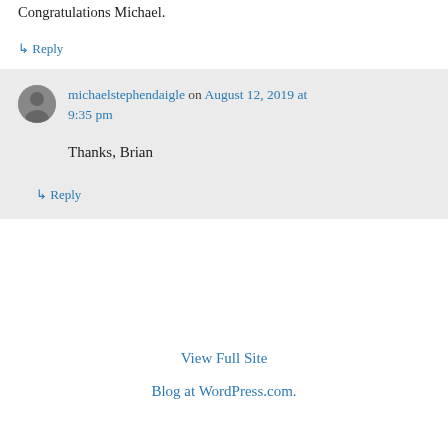Congratulations Michael.
↳ Reply
michaelstephendaigle on August 12, 2019 at 9:35 pm
Thanks, Brian
↳ Reply
View Full Site
Blog at WordPress.com.